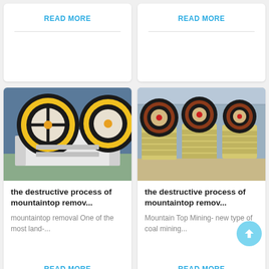READ MORE
READ MORE
[Figure (photo): Close-up of a single jaw crusher machine with large black and yellow flywheel, white body, in a factory setting.]
the destructive process of mountaintop remov...
mountaintop removal One of the most land-...
READ MORE
[Figure (photo): Multiple jaw crusher machines lined up in a factory warehouse, yellow body with black flywheels.]
the destructive process of mountaintop remov...
Mountain Top Mining- new type of coal mining...
READ MORE